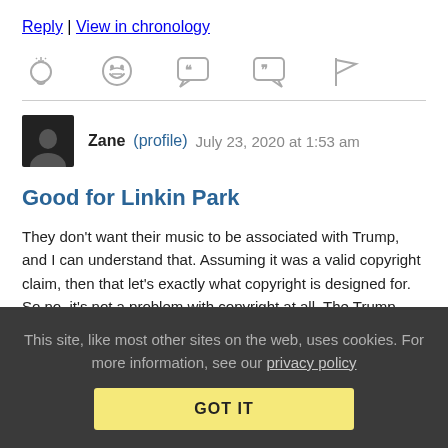Reply | View in chronology
[Figure (infographic): Row of five action icons: lightbulb, laughing face emoji, speech bubble with open-quote, speech bubble with close-quote, and flag]
Zane (profile)   July 23, 2020 at 1:53 am
Good for Linkin Park
They don't want their music to be associated with Trump, and I can understand that. Assuming it was a valid copyright claim, then that let's exactly what copyright is designed for. So no, it's not a problem with copyright at all. The Trump campaign is free to
This site, like most other sites on the web, uses cookies. For more information, see our privacy policy
GOT IT